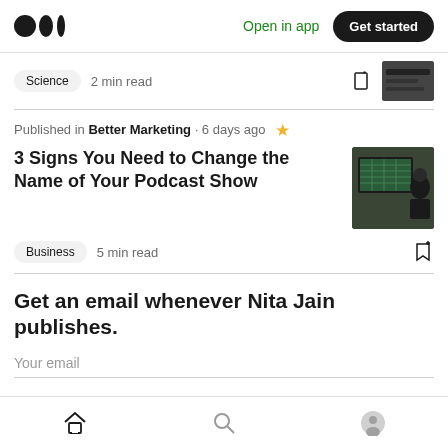Medium logo | Open in app | Get started
Science  2 min read
Published in Better Marketing · 6 days ago
3 Signs You Need to Change the Name of Your Podcast Show
[Figure (photo): Person working at a computer with spreadsheet visible on screen]
Business  5 min read
Get an email whenever Nita Jain publishes.
Your email